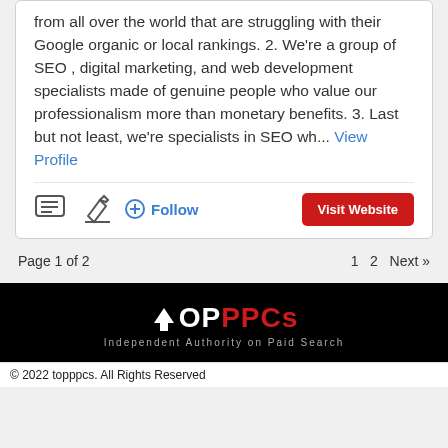from all over the world that are struggling with their Google organic or local rankings. 2. We're a group of SEO , digital marketing, and web development specialists made of genuine people who value our professionalism more than monetary benefits. 3. Last but not least, we're specialists in SEO wh... View Profile
[Figure (infographic): Action icons: comment/message icon, edit/pencil icon, and a Follow button with plus-circle icon in blue]
[Figure (infographic): Visit Website button in red]
Page 1 of 2
1  2  Next »
[Figure (logo): TopPPCs logo — white upward arrow, white TOP, red PPCs text, tagline: Independent Authority on Paid Search]
© 2022 topppcs. All Rights Reserved